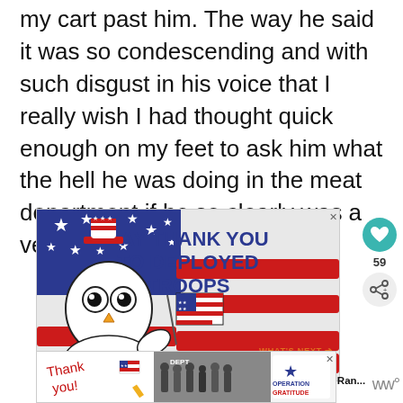my cart past him. The way he said it was so condescending and with such disgust in his voice that I really wish I had thought quick enough on my feet to ask him what the hell he was doing in the meat department if he so clearly was a vegetarian?
[Figure (illustration): Advertisement: 'Say Thank You to Deployed Troops' — cartoon owl in Uncle Sam hat holding an American flag, against red, white and blue flag background with stars]
[Figure (photo): Bottom advertisement: Operation Gratitude — shows 'Thank You!' handwriting, group of military/firefighters, Operation Gratitude logo with star]